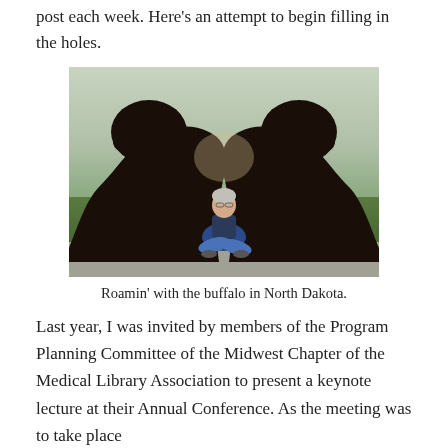post each week. Here's an attempt to begin filling in the holes.
[Figure (photo): A person sitting cross-legged on grass between two large dark buffalo statues in North Dakota.]
Roamin' with the buffalo in North Dakota.
Last year, I was invited by members of the Program Planning Committee of the Midwest Chapter of the Medical Library Association to present a keynote lecture at their Annual Conference. As the meeting was to take place